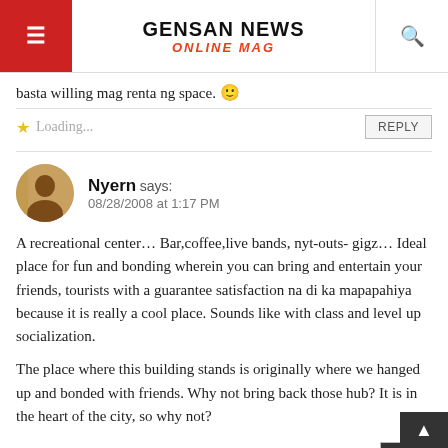GENSAN NEWS ONLINE MAG
basta willing mag renta ng space. 🙂
Loading...
REPLY
Nyern says:
08/28/2008 at 1:17 PM
A recreational center... Bar,coffee,live bands, nyt-outs- gigz... Ideal place for fun and bonding wherein you can bring and entertain your friends, tourists with a guarantee satisfaction na di ka mapapahiya because it is really a cool place. Sounds like with class and level up socialization.

The place where this building stands is originally where we hanged up and bonded with friends. Why not bring back those hub? It is in the heart of the city, so why not?
Loading...
REPLY